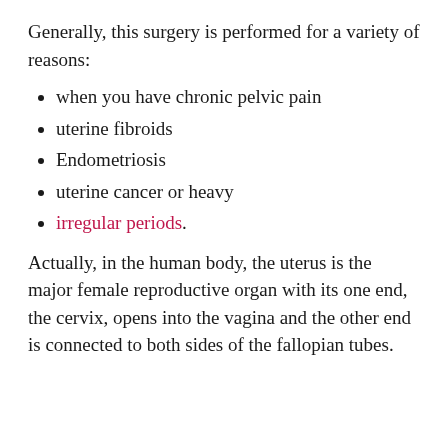Generally, this surgery is performed for a variety of reasons:
when you have chronic pelvic pain
uterine fibroids
Endometriosis
uterine cancer or heavy
irregular periods.
Actually, in the human body, the uterus is the major female reproductive organ with its one end, the cervix, opens into the vagina and the other end is connected to both sides of the fallopian tubes.